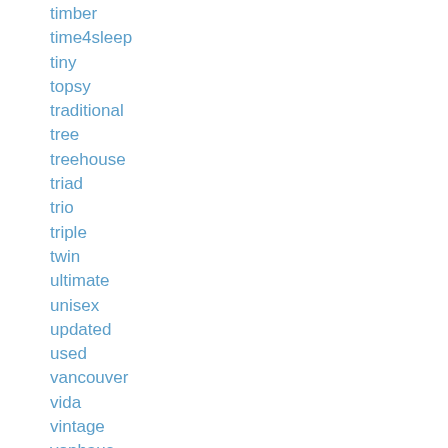timber
time4sleep
tiny
topsy
traditional
tree
treehouse
triad
trio
triple
twin
ultimate
unisex
updated
used
vancouver
vida
vintage
vonhaus
walker
warwick
wayfair
westwood